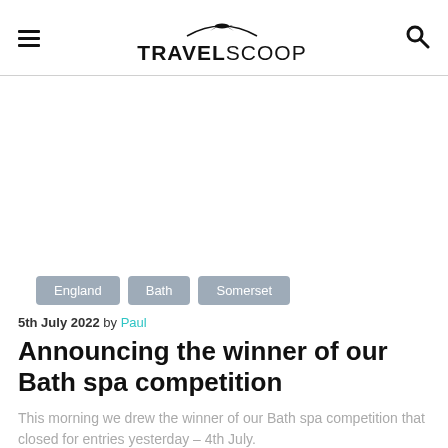TRAVELSCOOP
England
Bath
Somerset
5th July 2022 by Paul
Announcing the winner of our Bath spa competition
This morning we drew the winner of our Bath spa competition that closed for entries yesterday – 4th July.